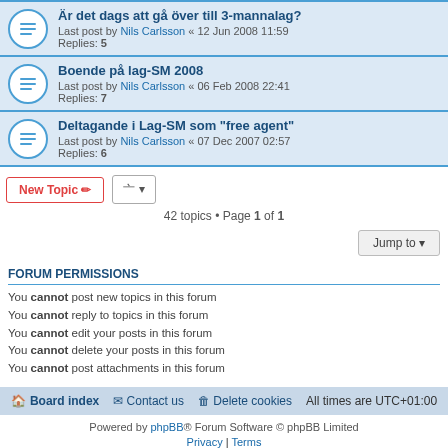Är det dags att gå över till 3-mannalag? — Last post by Nils Carlsson « 12 Jun 2008 11:59 — Replies: 5
Boende på lag-SM 2008 — Last post by Nils Carlsson « 06 Feb 2008 22:41 — Replies: 7
Deltagande i Lag-SM som "free agent" — Last post by Nils Carlsson « 07 Dec 2007 02:57 — Replies: 6
42 topics • Page 1 of 1
FORUM PERMISSIONS
You cannot post new topics in this forum
You cannot reply to topics in this forum
You cannot edit your posts in this forum
You cannot delete your posts in this forum
You cannot post attachments in this forum
Board index | Contact us | Delete cookies | All times are UTC+01:00
Powered by phpBB® Forum Software © phpBB Limited
Privacy | Terms